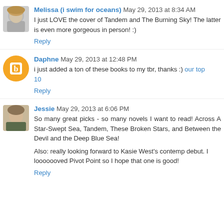Melissa (i swim for oceans) May 29, 2013 at 8:34 AM
I just LOVE the cover of Tandem and The Burning Sky! The latter is even more gorgeous in person! :)
Reply
Daphne May 29, 2013 at 12:48 PM
i just added a ton of these books to my tbr, thanks :) our top 10
Reply
Jessie May 29, 2013 at 6:06 PM
So many great picks - so many novels I want to read! Across A Star-Swept Sea, Tandem, These Broken Stars, and Between the Devil and the Deep Blue Sea!

Also: really looking forward to Kasie West's contemp debut. I looooooved Pivot Point so I hope that one is good!
Reply